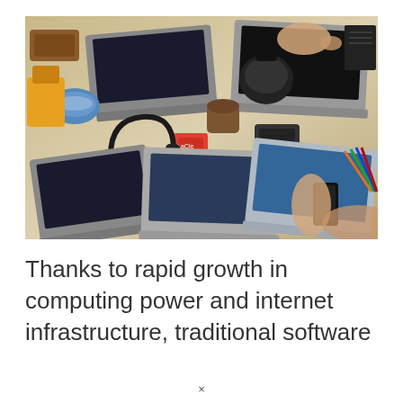[Figure (photo): Overhead view of a busy workspace with multiple laptops, headphones, smartphones, notebooks, cups, and other accessories on a wooden desk. Multiple people's hands are visible working on the devices.]
Thanks to rapid growth in computing power and internet infrastructure, traditional software